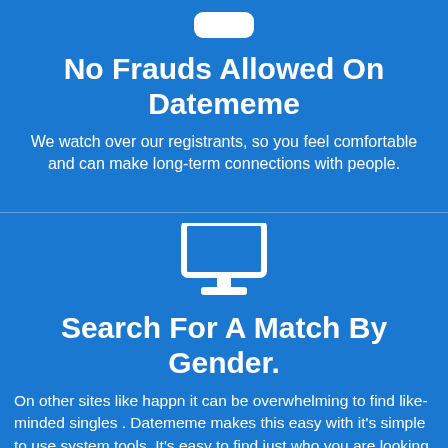[Figure (illustration): White rounded rectangle icon representing a phone/tablet, shown at top of first section]
No Frauds Allowed On Datememe
We watch over our registrants, so you feel comfortable and can make long-term connections with people.
[Figure (illustration): White monitor/desktop computer icon shown at top of second section]
Search For A Match By Gender.
On other sites like happn it can be overwhelming to find like-minded singles . Datememe makes this easy with it's simple to use system tools. It's easy to find just who you are looking for in only a few seconds.